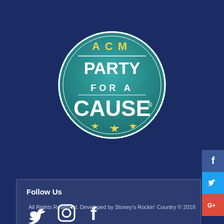[Figure (logo): Circular badge logo reading 'PARTY FOR A CAUSE' with three yellow stars on teal/blue-green background with white text and border details]
[Figure (illustration): Social media share buttons on right side: Facebook (blue), Twitter (light blue), Google+ (red)]
Follow Us
[Figure (illustration): Social media icons: Twitter bird, Instagram camera, Facebook f]
All Rights Reserved. Developed by Stoney's Rockin' Country © 2018